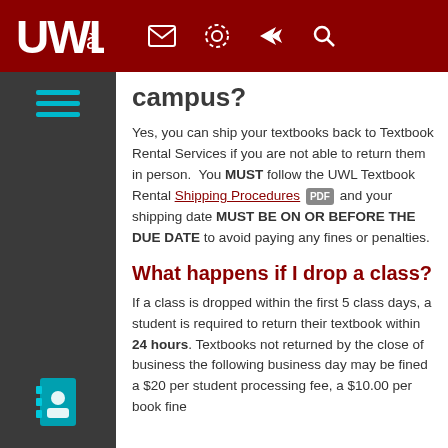UWL navigation bar with logo and icons
campus?
Yes, you can ship your textbooks back to Textbook Rental Services if you are not able to return them in person. You MUST follow the UWL Textbook Rental Shipping Procedures [PDF] and your shipping date MUST BE ON OR BEFORE THE DUE DATE to avoid paying any fines or penalties.
What happens if I drop a class?
If a class is dropped within the first 5 class days, a student is required to return their textbook within 24 hours. Textbooks not returned by the close of business the following business day may be fined a $20 per student processing fee, a $10.00 per book fine